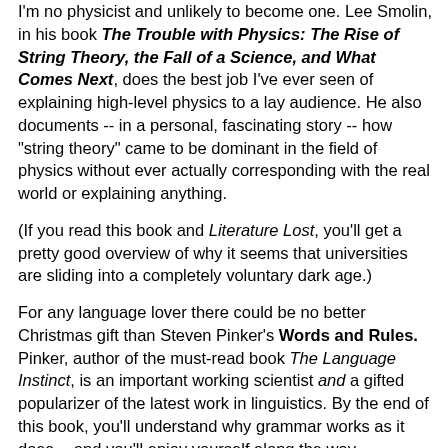I'm no physicist and unlikely to become one. Lee Smolin, in his book The Trouble with Physics: The Rise of String Theory, the Fall of a Science, and What Comes Next, does the best job I've ever seen of explaining high-level physics to a lay audience. He also documents -- in a personal, fascinating story -- how "string theory" came to be dominant in the field of physics without ever actually corresponding with the real world or explaining anything.
(If you read this book and Literature Lost, you'll get a pretty good overview of why it seems that universities are sliding into a completely voluntary dark age.)
For any language lover there could be no better Christmas gift than Steven Pinker's Words and Rules. Pinker, author of the must-read book The Language Instinct, is an important working scientist and a gifted popularizer of the latest work in linguistics. By the end of this book, you'll understand why grammar works as it does -- and you'll enjoy yourself along the way.
Best Practical Advice
I can't vouch for everything in Mark Hyman's Ultra Metabolism: The Simple Plan for Automatic Weight Loss, but as we have worked to make our diet (and our